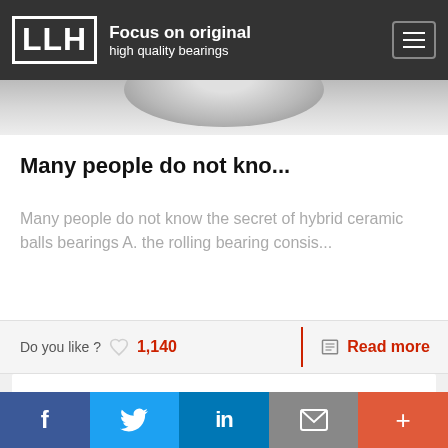LLH Focus on original high quality bearings
[Figure (photo): Partial view of a metallic bearing component, showing curved chrome/steel surface]
Many people do not kno...
Many people do not know the secret of hybrid ceramic balls bearings A. the rolling bearing consis...
Do you like ?  1,140   Read more
f  Twitter  in  email  +